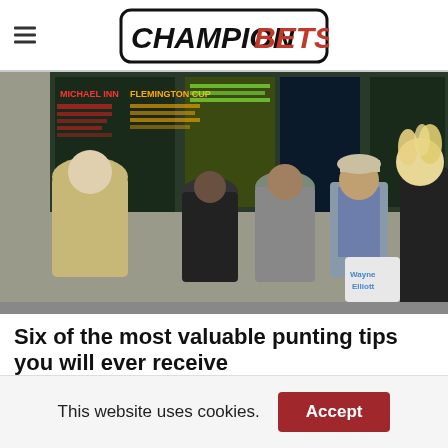CHAMPION BETS
[Figure (photo): Crowd of people at a horse racing venue looking at betting boards with race odds displayed. A man in a white vest holds a Wayne Elliott betting bag.]
Six of the most valuable punting tips you will ever receive
You won't get many punting tips more important than these. Stick to
This website uses cookies.  Accept